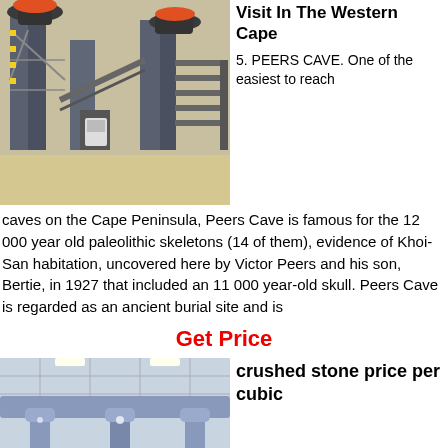[Figure (photo): Industrial crushing/mining machinery with metal scaffolding, conveyor structures, and equipment in an outdoor setting.]
Visit In The Western Cape
5. PEERS CAVE. One of the easiest to reach caves on the Cape Peninsula, Peers Cave is famous for the 12 000 year old paleolithic skeletons (14 of them), evidence of Khoi-San habitation, uncovered here by Victor Peers and his son, Bertie, in 1927 that included an 11 000 year-old skull. Peers Cave is regarded as an ancient burial site and is
Get Price
[Figure (photo): Indoor industrial pipes and ceiling infrastructure, blue/grey piping system.]
crushed stone price per cubic